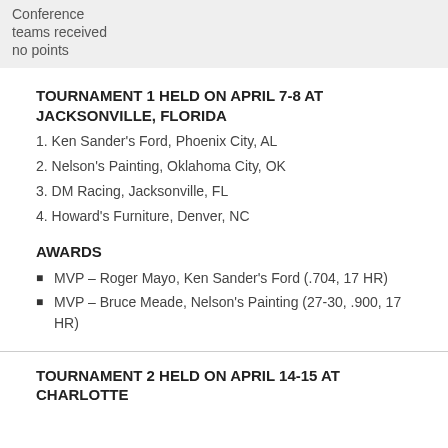Conference
teams received
no points
TOURNAMENT 1 HELD ON APRIL 7-8 AT JACKSONVILLE, FLORIDA
1. Ken Sander's Ford, Phoenix City, AL
2. Nelson's Painting, Oklahoma City, OK
3. DM Racing, Jacksonville, FL
4. Howard's Furniture, Denver, NC
AWARDS
MVP – Roger Mayo, Ken Sander's Ford (.704, 17 HR)
MVP – Bruce Meade, Nelson's Painting (27-30, .900, 17 HR)
TOURNAMENT 2 HELD ON APRIL 14-15 AT CHARLOTTE